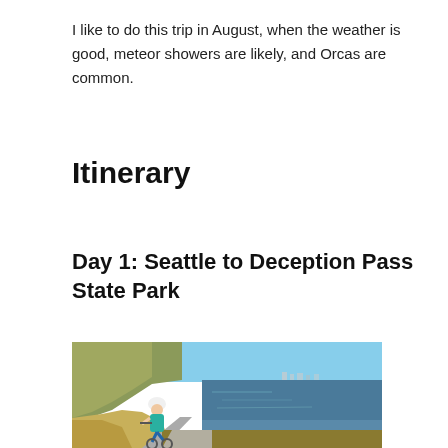I like to do this trip in August, when the weather is good, meteor showers are likely, and Orcas are common.
Itinerary
Day 1: Seattle to Deception Pass State Park
[Figure (photo): A cyclist in a blue top and helmet riding along a paved path beside the water, with golden grass hills on the left and a coastal town visible in the background under a clear blue sky.]